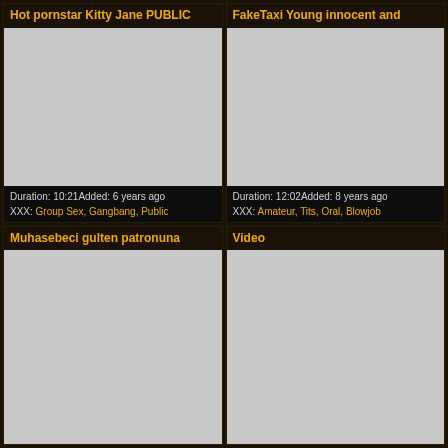Hot pornstar Kitty Jane PUBLIC
[Figure (photo): Video thumbnail placeholder (gray)]
Duration: 10:21Added: 6 years ago XXX: Group Sex, Gangbang, Public
FakeTaxi Young innocent and
[Figure (photo): Video thumbnail placeholder (gray)]
Duration: 12:02Added: 8 years ago XXX: Amateur, Tits, Oral, Blowjob
Muhasebeci gulten patronuna
[Figure (photo): Video thumbnail placeholder (gray)]
Video
[Figure (photo): Video thumbnail placeholder (gray)]